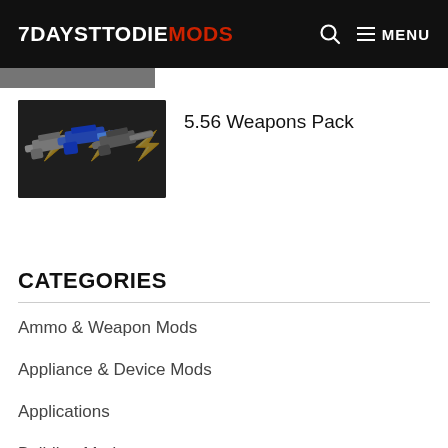7DAYSTODIEMODS   🔍  ≡ MENU
[Figure (photo): Three assault rifles displayed against a dark background, part of the 5.56 Weapons Pack mod listing thumbnail]
5.56 Weapons Pack
CATEGORIES
Ammo & Weapon Mods
Appliance & Device Mods
Applications
Building Mods